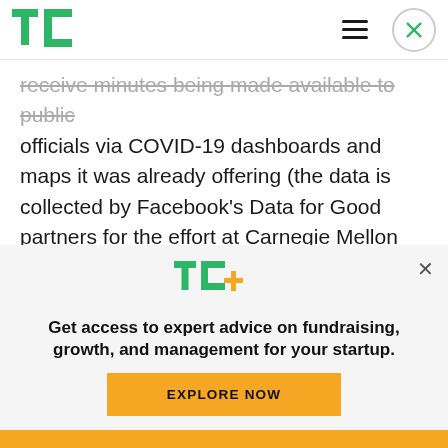TechCrunch header with logo, hamburger menu, and close button
receive minutes being made available to public officials via COVID-19 dashboards and maps it was already offering (the data is collected by Facebook’s Data for Good partners for the effort at Carnegie Mellon University and University of Maryland as part of the COVID-19 Symptom Survey).
[Figure (logo): TechCrunch TC+ logo in green with orange plus sign]
Get access to expert advice on fundraising, growth, and management for your startup.
EXPLORE NOW